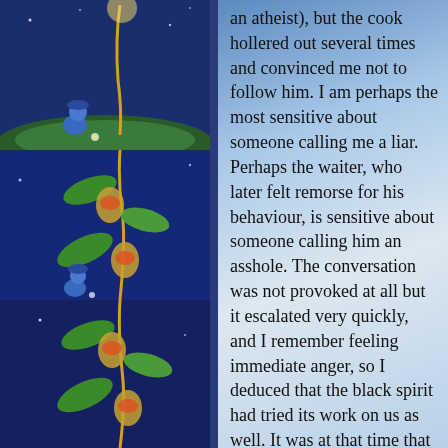[Figure (illustration): Three stacked panels on dark blue background showing a small figure in a blue beret with a glowing plant/vine with heart-shaped seed pods, stars visible in the night sky]
an atheist), but the cook hollered out several times and convinced me not to follow him. I am perhaps the most sensitive about someone calling me a liar. Perhaps the waiter, who later felt remorse for his behaviour, is sensitive about someone calling him an asshole. The conversation was not provoked at all but it escalated very quickly, and I remember feeling immediate anger, so I deduced that the black spirit had tried its work on us as well. It was at that time that I began to think that dark spirits are present in our world. .

Many years later, when I was already a believer for over a